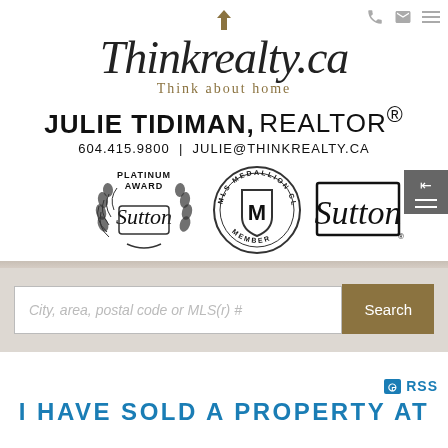[Figure (logo): Thinkrealty.ca logo with script text and 'Think about home' tagline, plus phone, email, and hamburger menu icons in top right]
JULIE TIDIMAN, REALTOR®
604.415.9800 | JULIE@THINKREALTY.CA
[Figure (logo): Three logos in a row: Sutton Platinum Award badge with laurel wreath, MLS Medallion Club Member circular stamp, and Sutton box logo]
City, area, postal code or MLS(r) # — Search button
RSS
I HAVE SOLD A PROPERTY AT